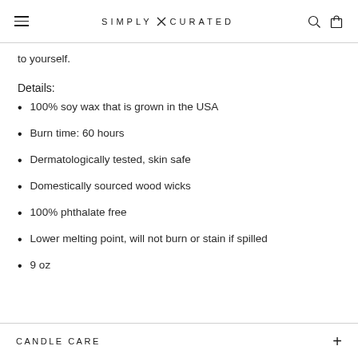SIMPLY X CURATED
to yourself.
Details:
100% soy wax that is grown in the USA
Burn time: 60 hours
Dermatologically tested, skin safe
Domestically sourced wood wicks
100% phthalate free
Lower melting point, will not burn or stain if spilled
9 oz
CANDLE CARE